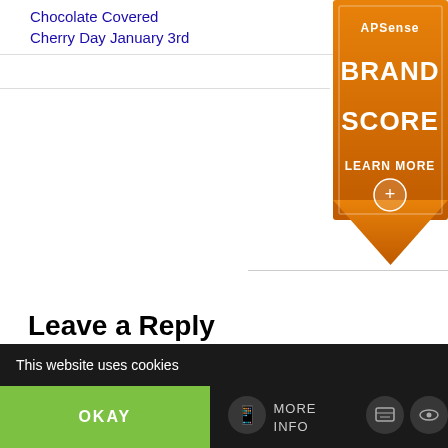Chocolate Covered Cherry Day January 3rd
[Figure (logo): APSense Brand Score badge - orange shield/ribbon shape with text: APSense, BRAND SCORE, LEARN MORE and a plus icon]
Leave a Reply
Your email address will not be published. Required fields are marked *
Comment *
This website uses cookies
OKAY
MORE INFO